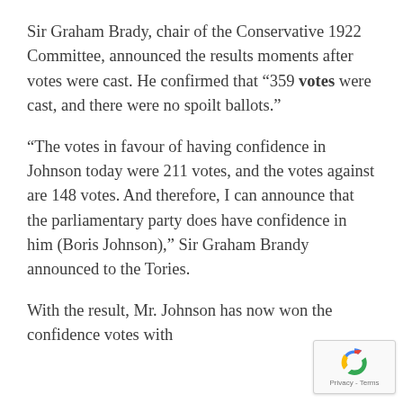Sir Graham Brady, chair of the Conservative 1922 Committee, announced the results moments after votes were cast. He confirmed that “359 votes were cast, and there were no spoilt ballots.”
“The votes in favour of having confidence in Johnson today were 211 votes, and the votes against are 148 votes. And therefore, I can announce that the parliamentary party does have confidence in him (Boris Johnson),” Sir Graham Brandy announced to the Tories.
With the result, Mr. Johnson has now won the confidence votes with